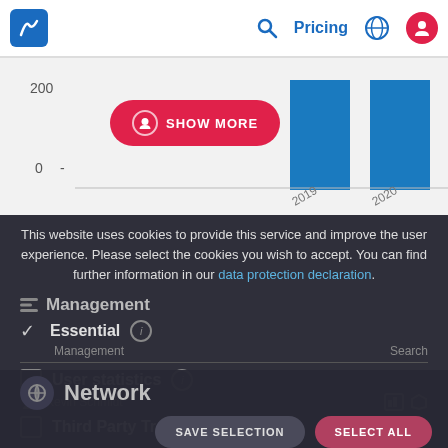Navigation bar with logo, Pricing, globe icon, user icon
[Figure (bar-chart): Partial bar chart showing bars for 2019 and 2020, y-axis labels 0 and 200, with a SHOW MORE button overlay]
This website uses cookies to provide this service and improve the user experience. Please select the cookies you wish to accept. You can find further information in our data protection declaration.
Management
✓ Essential ⓘ
Management   Search
☐ User statistics ⓘ
Kevin Schmidt
☐ Third Party Tracking ⓘ
Network
Discover connections between organisations
SAVE SELECTION   SELECT ALL